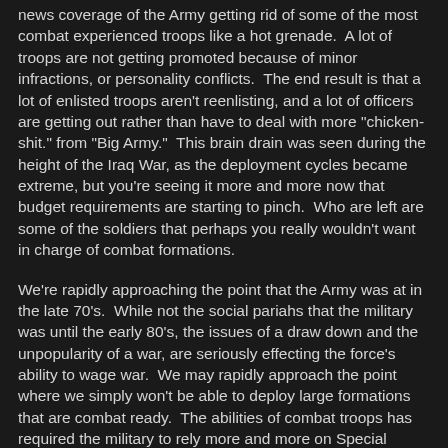news coverage of the Army getting rid of some of the most combat experienced troops like a hot grenade. A lot of troops are not getting promoted because of minor infractions, or personality conflicts. The end result is that a lot of enlisted troops aren't reenlisting, and a lot of officers are getting out rather than have to deal with more "chicken-shit." from "Big Army." This brain drain was seen during the height of the Iraq War, as the deployment cycles became extreme, but you're seeing it more and more now that budget requirements are starting to pinch. Who are left are some of the soldiers that perhaps you really wouldn't want in charge of combat formations.
We're rapidly approaching the point that the Army was at in the late 70's. While not the social pariahs that the military was until the early 80's, the issues of a draw down and the unpopularity of a war, are seriously effecting the force's ability to wage war. We may rapidly approach the point where we simply won't be able to deploy large formations that are combat ready. The abilities of combat troops has required the military to rely more and more on Special Operations troops.